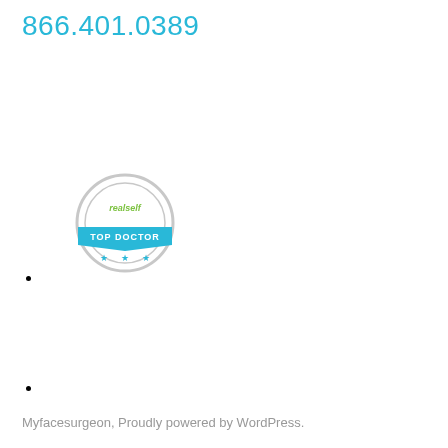866.401.0389
[Figure (logo): RealSelf Top Doctor badge - circular badge with ribbon banner and three stars]
Myfacesurgeon, Proudly powered by WordPress.